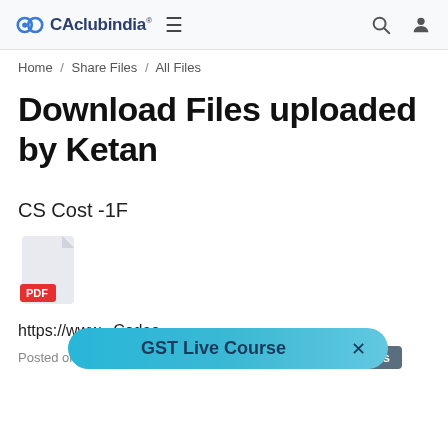CAclubindia® ≡ 🔍 👤
Home / Share Files / All Files
Download Files uploaded by Ketan
CS Cost -1F
[Figure (other): PDF file icon with red PDF label badge]
https://www...Codes...
Posted on 06 October 2014   (Downloads: 378)   Students